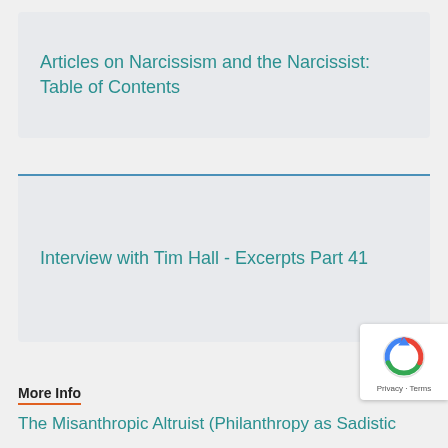Articles on Narcissism and the Narcissist: Table of Contents
Interview with Tim Hall - Excerpts Part 41
More Info
The Misanthropic Altruist (Philanthropy as Sadistic